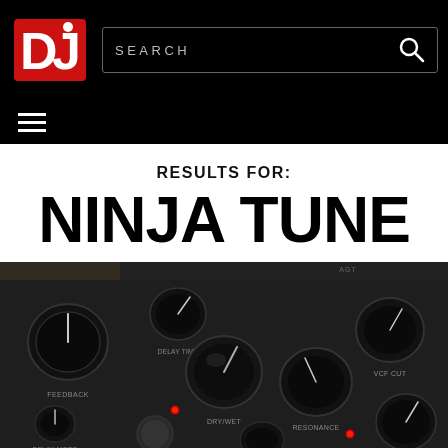DJ Magazine website header with logo and search bar
RESULTS FOR:
NINJA TUNE
[Figure (photo): Close-up photo of a black DJ audio effects hardware unit with multiple knobs including DELAY TIME, FEEDBACK, DELAY MODE, DRY/WET, RESONANCE, VCF CUT, DRIVE, BYPASS controls and red indicator LEDs]